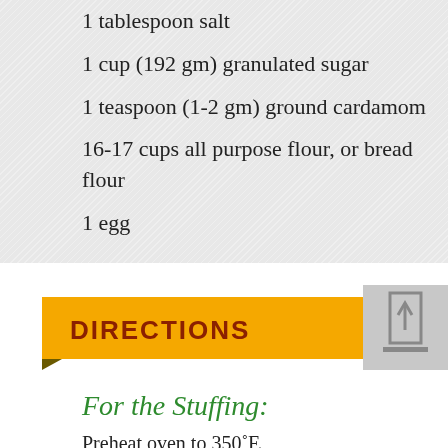1 tablespoon salt
1 cup (192 gm) granulated sugar
1 teaspoon (1-2 gm) ground cardamom
16-17 cups all purpose flour, or bread flour
1 egg
DIRECTIONS
For the Stuffing:
Preheat oven to 350˚F.
Tear bread into 1-2 inch pieces, getting about 10 cu
In large skillet brown sausage, drain and set aside. W